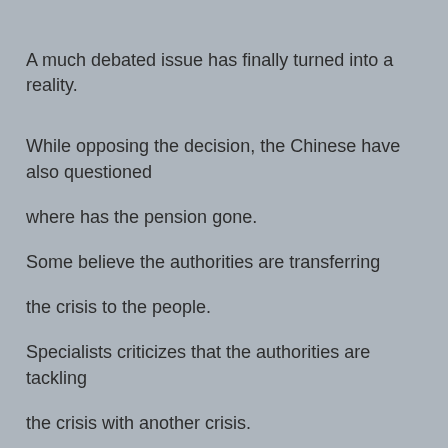A much debated issue has finally turned into a reality.
While opposing the decision, the Chinese have also questioned
where has the pension gone.
Some believe the authorities are transferring
the crisis to the people.
Specialists criticizes that the authorities are tackling
the crisis with another crisis.
The third plenary decision published on 15th November outlined